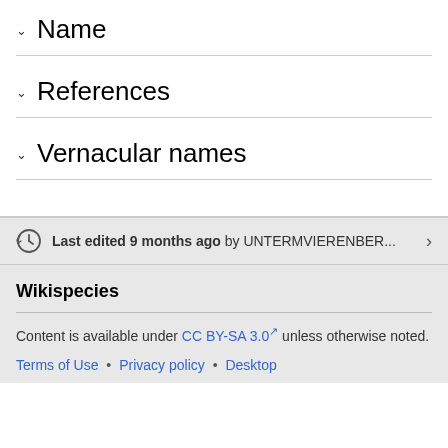Name
References
Vernacular names
Last edited 9 months ago by UNTERMVIERENBER...
Wikispecies
Content is available under CC BY-SA 3.0 unless otherwise noted.
Terms of Use • Privacy policy • Desktop